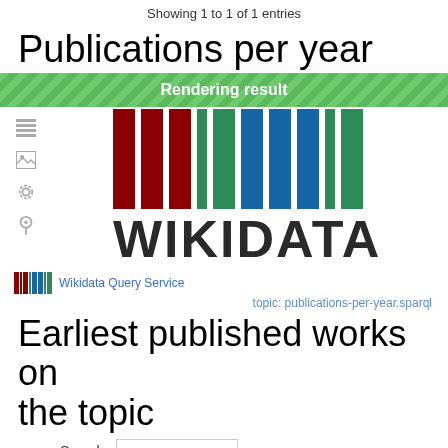Showing 1 to 1 of 1 entries
Publications per year
Rendering result
[Figure (logo): Wikidata logo with colored vertical bars (red, green, blue) and text WIKIDATA below, inside a panel with left-side icons (rows, image, gear, pin)]
Wikidata Query Service
topic: publications-per-year.sparql
Earliest published works on the topic
Search